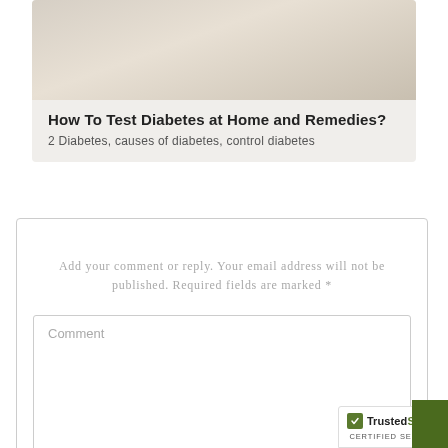[Figure (photo): Faded beige/tan image at top of article card, appears to be a soft background photo related to diabetes topic]
How To Test Diabetes at Home and Remedies?
2 Diabetes, causes of diabetes, control diabetes
Add your comment or reply. Your email address will not be published. Required fields are marked *
Comment